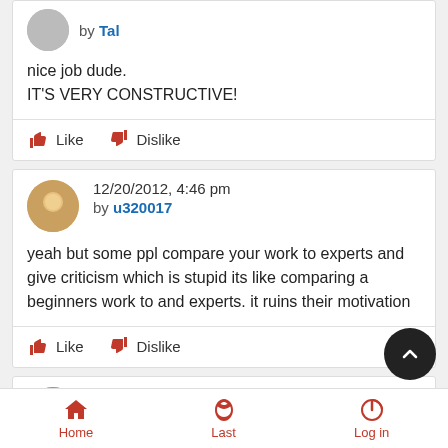by Tal
nice job dude.
IT'S VERY CONSTRUCTIVE!
Like  Dislike
12/20/2012, 4:46 pm
by u320017
yeah but some ppl compare your work to experts and give criticism which is stupid its like comparing a beginners work to and experts. it ruins their motivation
Like  Dislike
12/20/2012, 8:58 pm
Home  Last  Log in